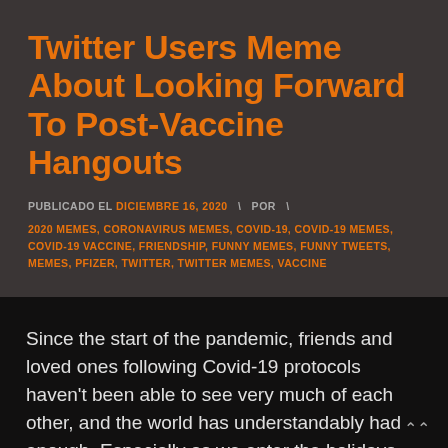Twitter Users Meme About Looking Forward To Post-Vaccine Hangouts
PUBLICADO EL DICIEMBRE 16, 2020  \  POR  \
2020 MEMES, CORONAVIRUS MEMES, COVID-19, COVID-19 MEMES, COVID-19 VACCINE, FRIENDSHIP, FUNNY MEMES, FUNNY TWEETS, MEMES, PFIZER, TWITTER, TWITTER MEMES, VACCINE
Since the start of the pandemic, friends and loved ones following Covid-19 protocols haven't been able to see very much of each other, and the world has understandably had enough. Especially as we enter the holidays and approach the end of a very tough year, many are welcoming the prospect of a Covid-19 vaccine with …